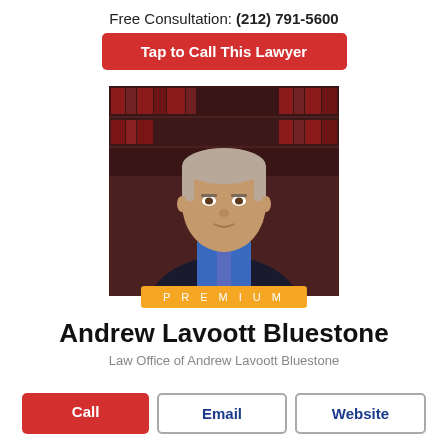Free Consultation: (212) 791-5600
Tap to Call This Lawyer
[Figure (photo): Professional headshot of Andrew Lavoott Bluestone, a middle-aged man with short graying hair, wearing a blue shirt, patterned tie, and dark jacket, with law books visible in the background.]
PREMIUM
Andrew Lavoott Bluestone
Law Office of Andrew Lavoott Bluestone
Call
Email
Website